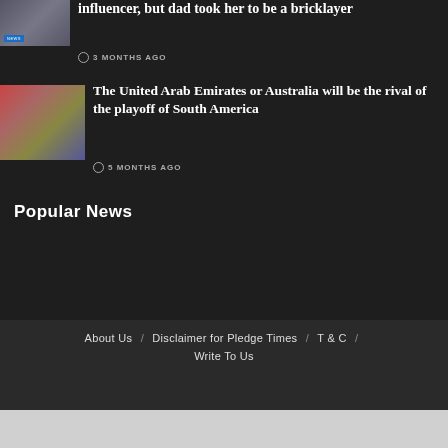influencer, but dad took her to be a bricklayer
3 MONTHS AGO
[Figure (photo): Thumbnail image of article about influencer/bricklayer]
The United Arab Emirates or Australia will be the rival of the playoff of South America
5 MONTHS AGO
[Figure (photo): Thumbnail image of sports article about UAE or Australia playoff]
Popular News
About Us / Disclaimer for Pledge Times / T & C / Write To Us